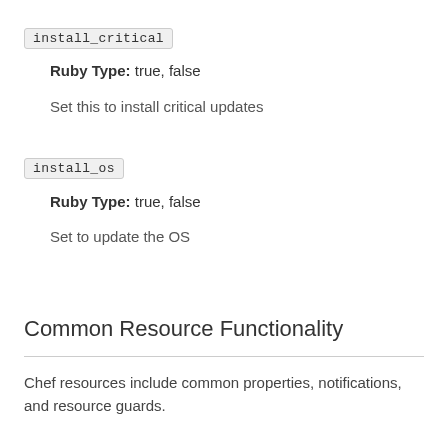install_critical
Ruby Type: true, false
Set this to install critical updates
install_os
Ruby Type: true, false
Set to update the OS
Common Resource Functionality
Chef resources include common properties, notifications, and resource guards.